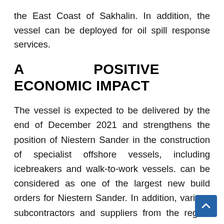the East Coast of Sakhalin. In addition, the vessel can be deployed for oil spill response services.
A POSITIVE ECONOMIC IMPACT
The vessel is expected to be delivered by the end of December 2021 and strengthens the position of Niestern Sander in the construction of specialist offshore vessels, including icebreakers and walk-to-work vessels. can be considered as one of the largest new build orders for Niestern Sander. In addition, various subcontractors and suppliers from the region are involved in the project for engineering, delivering steel, parts of